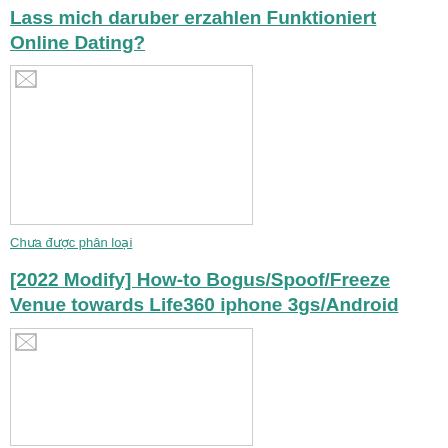Lass mich daruber erzahlen Funktioniert Online Dating?
[Figure (photo): Broken/unloaded image placeholder, approximately 243x160px]
Chưa được phân loại
[2022 Modify] How-to Bogus/Spoof/Freeze Venue towards Life360 iphone 3gs/Android
[Figure (photo): Broken/unloaded image placeholder, approximately 243x118px]